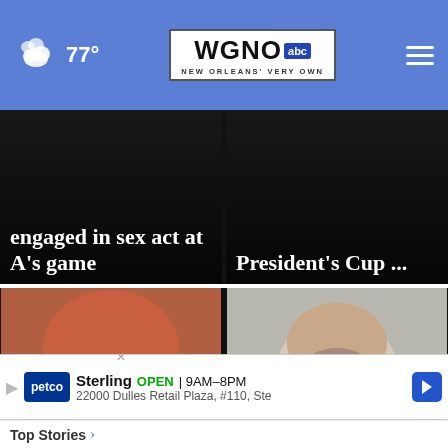WGNO abc - New Orleans' Very Own | 77°
engaged in sex act at A's game
President's Cup ...
[Figure (photo): Mugshot of a bald man, close-up face photo]
Police: Naked man crawls through Taco Bell window
[Figure (photo): Photo of bearded man, appears to be a politician]
Mullin wins US Senate GOP runoff in deep-red Oklah×na
Sterling  OPEN  9AM–8PM  22000 Dulles Retail Plaza, #110, Ste
Top Stories ›